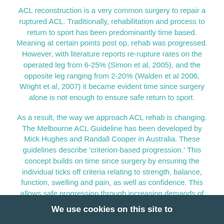ACL reconstruction is a very common surgery to repair a ruptured ACL. Traditionally, rehabilitation and process to return to sport has been predominantly time based. Meaning at certain points post op, rehab was progressed. However, with literature reports re-rupture rates on the operated leg from 6-25% (Simon et al, 2005), and the opposite leg ranging from 2-20% (Walden et al 2006, Wright et al, 2007) it became evident time since surgery alone is not enough to ensure safe return to sport.
As a result, the way we approach ACL rehab is changing. The Melbourne ACL Guideline has been developed by Mick Hughes and Randall Cooper in Australia. These guidelines describe 'criterion-based progression.' This concept builds on time since surgery by ensuring the individual ticks off criteria relating to strength, balance, function, swelling and pain, as well as confidence. This allows safe progression through increasing demands of rehab and eventually return to sport. Meeting these criteria are crucial for return to ,
We use cookies on this site to